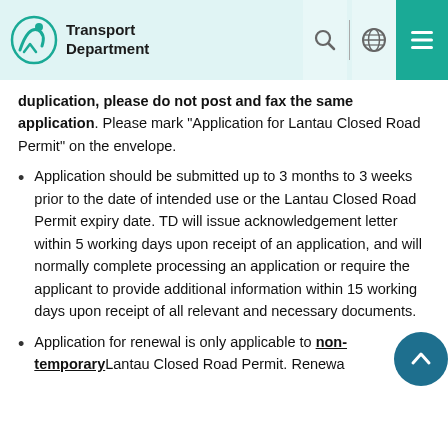Transport Department
duplication, please do not post and fax the same application. Please mark "Application for Lantau Closed Road Permit" on the envelope.
Application should be submitted up to 3 months to 3 weeks prior to the date of intended use or the Lantau Closed Road Permit expiry date. TD will issue acknowledgement letter within 5 working days upon receipt of an application, and will normally complete processing an application or require the applicant to provide additional information within 15 working days upon receipt of all relevant and necessary documents.
Application for renewal is only applicable to non-temporary Lantau Closed Road Permit. Renewal